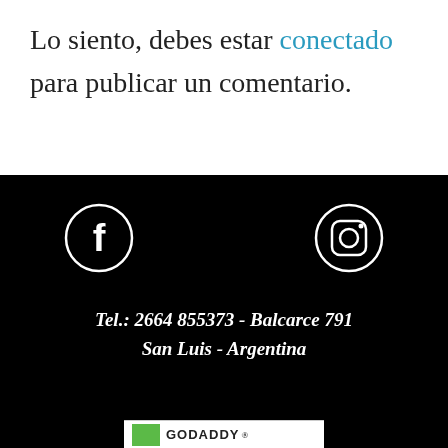Lo siento, debes estar conectado para publicar un comentario.
[Figure (illustration): Black footer section with Facebook and Instagram social media icons (white circles with logos), contact information text, and a GoDaddy badge at the bottom.]
Tel.: 2664 855373 - Balcarce 791 San Luis - Argentina